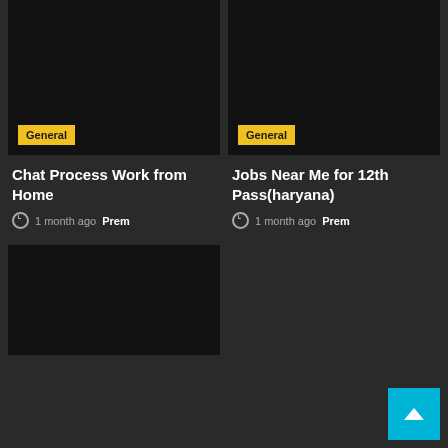[Figure (screenshot): Black image placeholder for Chat Process Work from Home card]
General
Chat Process Work from Home
1 month ago  Prem
[Figure (screenshot): Black image placeholder for Jobs Near Me for 12th Pass(haryana) card]
General
Jobs Near Me for 12th Pass(haryana)
1 month ago  Prem
[Figure (screenshot): Black image placeholder for bottom left card (partially visible)]